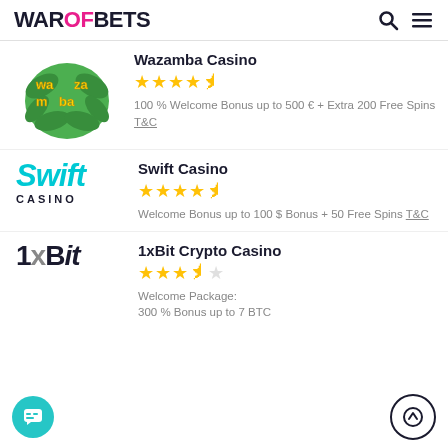WAROFBETS
Wazamba Casino
4.5 stars
100 % Welcome Bonus up to 500 € + Extra 200 Free Spins T&C
Swift Casino
4.5 stars
Welcome Bonus up to 100 $ Bonus + 50 Free Spins T&C
1xBit Crypto Casino
3.5 stars
Welcome Package: 300 % Bonus up to 7 BTC